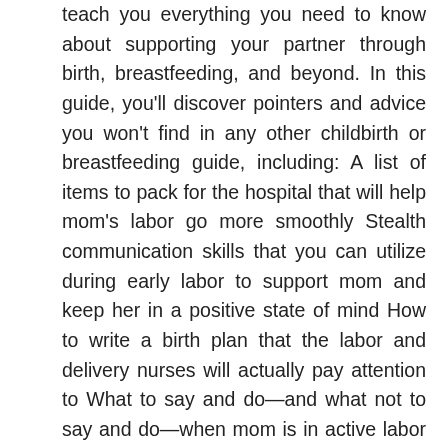teach you everything you need to know about supporting your partner through birth, breastfeeding, and beyond. In this guide, you'll discover pointers and advice you won't find in any other childbirth or breastfeeding guide, including: A list of items to pack for the hospital that will help mom's labor go more smoothly Stealth communication skills that you can utilize during early labor to support mom and keep her in a positive state of mind How to write a birth plan that the labor and delivery nurses will actually pay attention to What to say and do—and what not to say and do—when mom is in active labor and feeling all the feelings A detailed account of what to expect in the delivery room as a birth partner, and how to navigate the unknown terrains when things